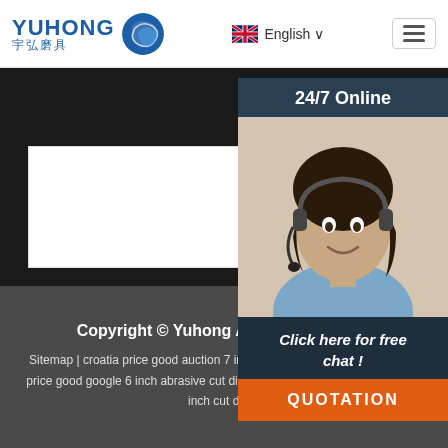[Figure (logo): Yuhong Abrasive Co. logo with blue wave icon and Chinese characters 宇弘磨具]
English ∨
[Figure (photo): Customer service representative with headset, 24/7 Online chat widget]
Submit Now
Click here for free chat !
QUOTATION
Copyright © Yuhong Abrasive Co., Ltd.
Sitemap | croatia price good auction 7 inch abrasive cut wheels | lithuania price good google 6 inch abrasive cut discs | hungary price good chrome 6 inch cut discs